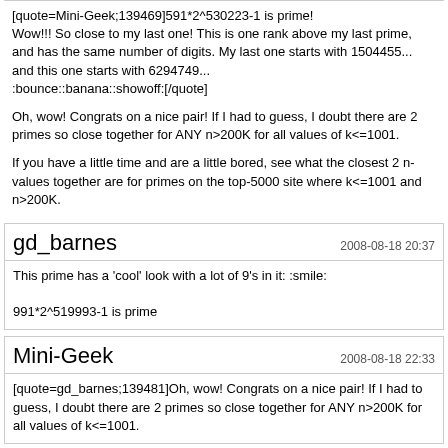[quote=Mini-Geek;139469]591*2^530223-1 is prime!
Wow!!! So close to my last one! This is one rank above my last prime, and has the same number of digits. My last one starts with 1504455... and this one starts with 6294749...
:bounce::banana::showoff:[/quote]

Oh, wow! Congrats on a nice pair! If I had to guess, I doubt there are 2 primes so close together for ANY n>200K for all values of k<=1001.

If you have a little time and are a little bored, see what the closest 2 n-values together are for primes on the top-5000 site where k<=1001 and n>200K.
gd_barnes
2008-08-18 20:37
This prime has a 'cool' look with a lot of 9's in it: :smile:

991*2^519993-1 is prime
Mini-Geek
2008-08-18 22:33
[quote=gd_barnes;139481]Oh, wow! Congrats on a nice pair! If I had to guess, I doubt there are 2 primes so close together for ANY n>200K for all values of k<=1001.